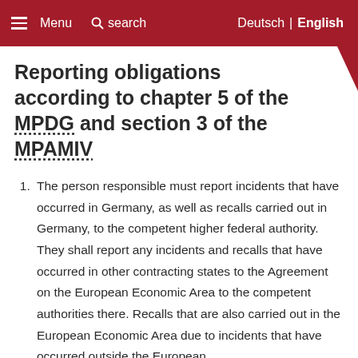Menu  search  Deutsch | English
Reporting obligations according to chapter 5 of the MPDG and section 3 of the MPAMIV
The person responsible must report incidents that have occurred in Germany, as well as recalls carried out in Germany, to the competent higher federal authority. They shall report any incidents and recalls that have occurred in other contracting states to the Agreement on the European Economic Area to the competent authorities there. Recalls that are also carried out in the European Economic Area due to incidents that have occurred outside the European